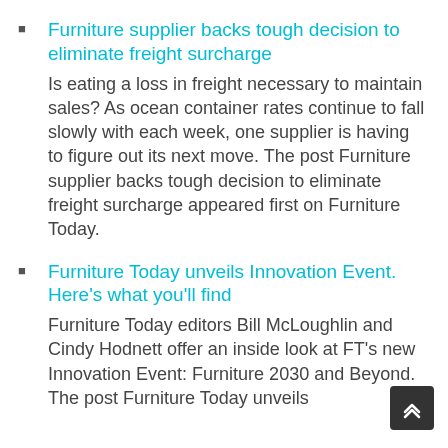Furniture supplier backs tough decision to eliminate freight surcharge — Is eating a loss in freight necessary to maintain sales? As ocean container rates continue to fall slowly with each week, one supplier is having to figure out its next move. The post Furniture supplier backs tough decision to eliminate freight surcharge appeared first on Furniture Today.
Furniture Today unveils Innovation Event. Here's what you'll find — Furniture Today editors Bill McLoughlin and Cindy Hodnett offer an inside look at FT's new Innovation Event: Furniture 2030 and Beyond. The post Furniture Today unveils